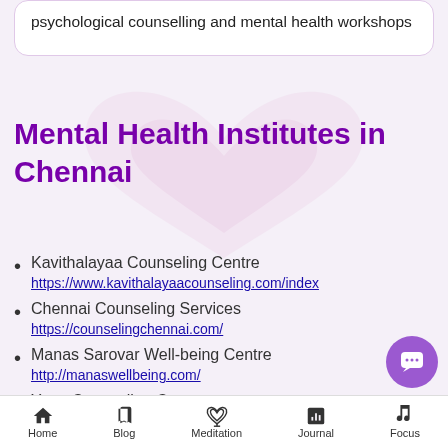psychological counselling and mental health workshops
Mental Health Institutes in Chennai
Kavithalayaa Counseling Centre
https://www.kavithalayaacounseling.com/index
Chennai Counseling Services
https://counselingchennai.com/
Manas Sarovar Well-being Centre
http://manaswellbeing.com/
Yana Counseling Centre
Home | Blog | Meditation | Journal | Focus